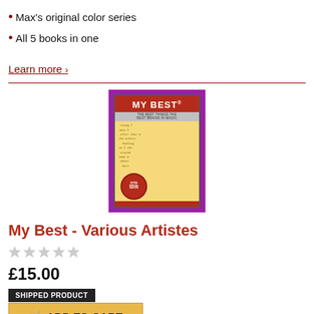Max's original color series
All 5 books in one
Learn more >
[Figure (photo): Book cover for 'My Best - Various Artistes': a book with a red header reading 'MY BEST', script-covered cream/yellow background, red circular stamp, against a purple/magenta background.]
My Best - Various Artistes
★★★★★ (empty stars rating)
£15.00
SHIPPED PRODUCT
ADD TO CART